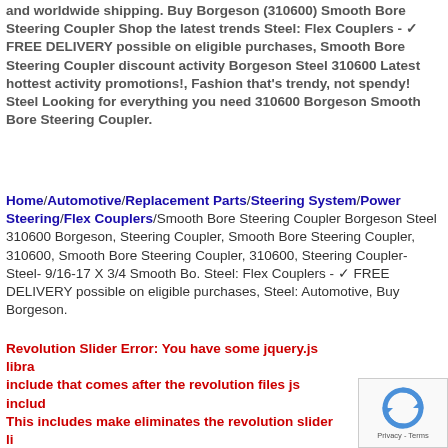and worldwide shipping. Buy Borgeson (310600) Smooth Bore Steering Coupler Shop the latest trends Steel: Flex Couplers - ✓ FREE DELIVERY possible on eligible purchases, Smooth Bore Steering Coupler discount activity Borgeson Steel 310600 Latest hottest activity promotions!, Fashion that's trendy, not spendy! Steel Looking for everything you need 310600 Borgeson Smooth Bore Steering Coupler.
Home/Automotive/Replacement Parts/Steering System/Power Steering/Flex Couplers/Smooth Bore Steering Coupler Borgeson Steel 310600 Borgeson, Steering Coupler, Smooth Bore Steering Coupler, 310600, Smooth Bore Steering Coupler, 310600, Steering Coupler- Steel- 9/16-17 X 3/4 Smooth Bo. Steel: Flex Couplers - ✓ FREE DELIVERY possible on eligible purchases, Steel: Automotive, Buy Borgeson.
Revolution Slider Error: You have some jquery.js library include that comes after the revolution files js include. This includes make eliminates the revolution slider library and make it not work.
[Figure (other): reCAPTCHA widget box with circular arrow icon and Privacy - Terms text]
[Figure (illustration): Small red heart outline illustration at bottom center]